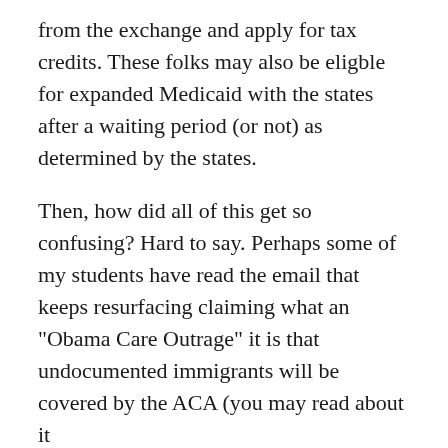from the exchange and apply for tax credits. These folks may also be eligble for expanded Medicaid with the states after a waiting period (or not) as determined by the states.
Then, how did all of this get so confusing? Hard to say. Perhaps some of my students have read the email that keeps resurfacing claiming what an "Obama Care Outrage" it is that undocumented immigrants will be covered by the ACA (you may read about it here:http://www.politifact.com/florida/statements/2013/jul/09/chain-email/illegal-immigrants-are-covered-under-health-care-l/&#160;) which itself may be based on a 2009 piece of draft health care legislation that never became law